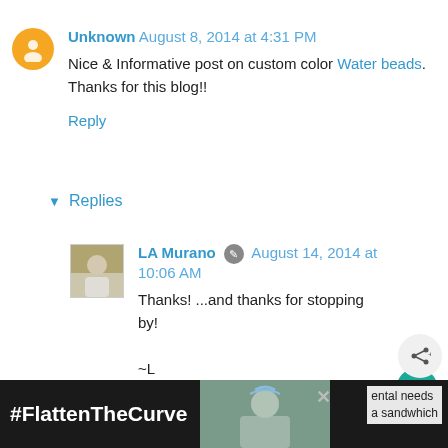Unknown  August 8, 2014 at 4:31 PM
Nice & Informative post on custom color Water beads. Thanks for this blog!!
Reply
Replies
LA Murano  August 14, 2014 at 10:06 AM
Thanks! ...and thanks for stopping by!

~L
Reply
27
Unknown  January 11, 2017 at 4:22 PM
[Figure (infographic): Advertisement bar at bottom: #FlattenTheCurve with image of person washing hands and text about mental needs and a sandwich]
[Figure (infographic): Heart/like button showing 27 likes and share button on right side]